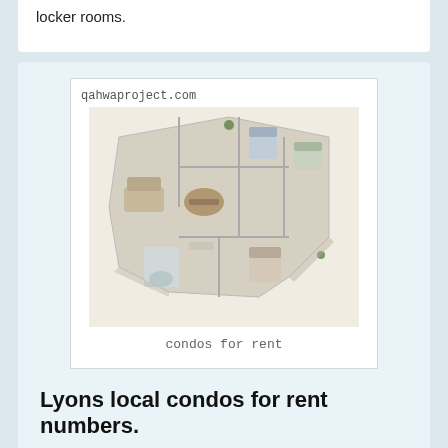locker rooms.
[Figure (illustration): 3D isometric floor plan of a multi-bedroom condo with watermark 'qahwaproject.com' and caption 'condos for rent']
condos for rent
Lyons local condos for rent numbers.
3 Bedrooms